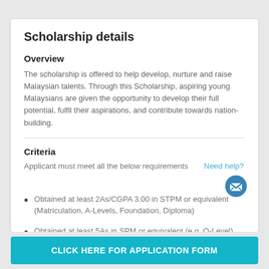Scholarship details
Overview
The scholarship is offered to help develop, nurture and raise Malaysian talents. Through this Scholarship, aspiring young Malaysians are given the opportunity to develop their full potential, fulfil their aspirations, and contribute towards nation-building.
Criteria
Applicant must meet all the below requirements
Obtained at least 2As/CGPA 3.00 in STPM or equivalent (Matriculation, A-Levels, Foundation, Diploma)
Obtained at least 5As in SPM or equivalent (e.g. O-Level)
Enrolled in any reputable overseas or local university as a full...
CLICK HERE FOR APPLICATION FORM